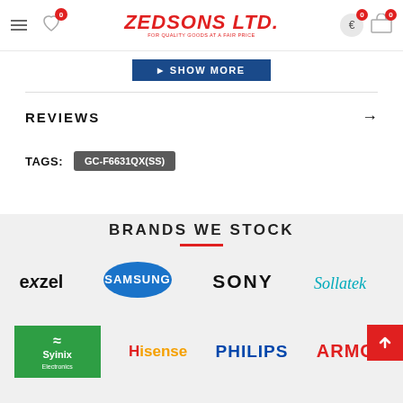Zedsons Ltd. — For Quality Goods at a Fair Price
SHOW MORE
REVIEWS →
TAGS: GC-F6631QX(SS)
BRANDS WE STOCK
[Figure (logo): eXzel brand logo in black bold text]
[Figure (logo): Samsung brand logo in blue ellipse]
[Figure (logo): SONY brand logo in black bold text]
[Figure (logo): Sollatek brand logo in cyan italic script]
[Figure (logo): Syinix Electronics logo on green background]
[Figure (logo): Hisense brand logo in orange/red text]
[Figure (logo): PHILIPS brand logo in dark blue bold text]
[Figure (logo): ARMCO brand logo in red bold text]